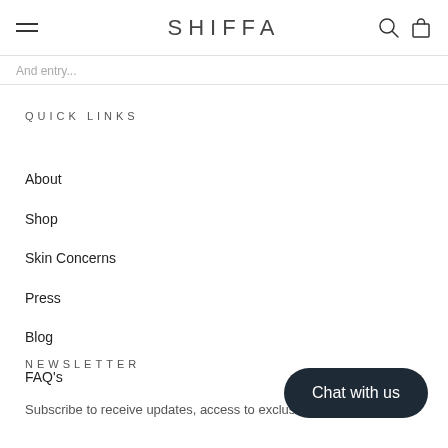SHIFFA
And entry...
QUICK LINKS
About
Shop
Skin Concerns
Press
Blog
FAQ's
NEWSLETTER
Subscribe to receive updates, access to exclusive deals, and more.
Chat with us